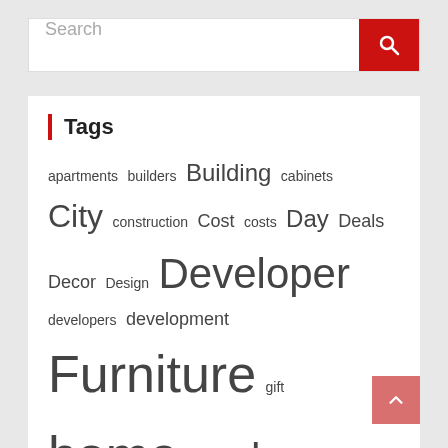[Figure (screenshot): Search bar with red search button]
Tags
apartments builders Building cabinets City construction Cost costs Day Deals Decor Design Developer developers development Furniture gift home homes house housing ideas Kitchen Local market Memorial Modern News Occupancy office outdoor Plan Plans project Remodel remodeled Sales Shop Space Spaces store Stores style Supply Ways